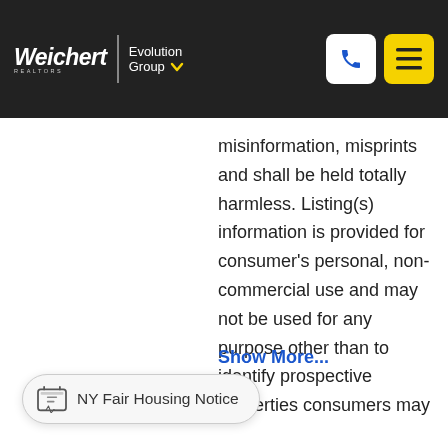Weichert REALTORS | Evolution Group
misinformation, misprints and shall be held totally harmless. Listing(s) information is provided for consumer's personal, non-commercial use and may not be used for any purpose other than to identify prospective properties consumers may
Show More...
NY Fair Housing Notice